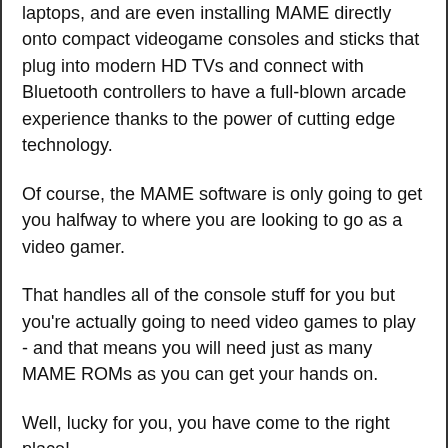laptops, and are even installing MAME directly onto compact videogame consoles and sticks that plug into modern HD TVs and connect with Bluetooth controllers to have a full-blown arcade experience thanks to the power of cutting edge technology.
Of course, the MAME software is only going to get you halfway to where you are looking to go as a video gamer.
That handles all of the console stuff for you but you're actually going to need video games to play - and that means you will need just as many MAME ROMs as you can get your hands on.
Well, lucky for you, you have come to the right place!
We provide instant access to hundreds of MAME ROMs ready to download and use with your favorite emulator, giving you the ability to play all of your old video games with no headache or hassle but also